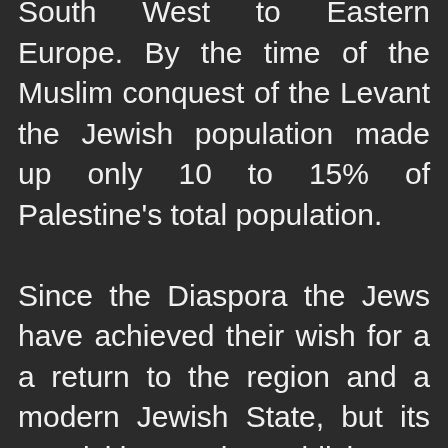South West to Eastern Europe. By the time of the Muslim conquest of the Levant the Jewish population made up only 10 to 15% of Palestine's total population.

Since the Diaspora the Jews have achieved their wish for a a return to the region and a modern Jewish State, but its acquisition and establishment a point of